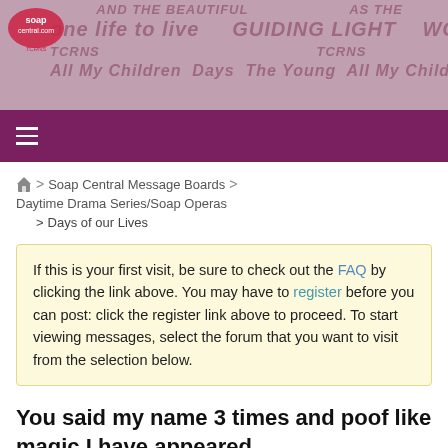[Figure (screenshot): Website header banner with soap opera show logos and titles repeating across the top including All My Children, Days, The Young, Guiding Light, One Life to Live, As the World Turns]
Navigation bar with hamburger menu icon on purple background
Home > Soap Central Message Boards > Daytime Drama Series/Soap Operas > Days of our Lives
If this is your first visit, be sure to check out the FAQ by clicking the link above. You may have to register before you can post: click the register link above to proceed. To start viewing messages, select the forum that you want to visit from the selection below.
You said my name 3 times and poof like magic I have appeared